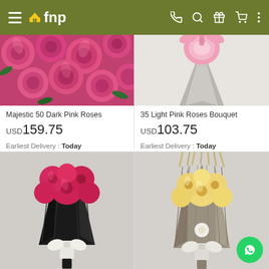fnp — mobile app header with hamburger menu, logo, phone, search, gift, cart, and more icons
[Figure (photo): Close-up of dark pink roses filling the frame]
Majestic 50 Dark Pink Roses
USD 159.75
Earliest Delivery : Today
[Figure (photo): 35 Light Pink Roses Bouquet wrapped in grey paper]
35 Light Pink Roses Bouquet
USD 103.75
Earliest Delivery : Today
[Figure (photo): Dark pink roses bouquet wrapped in black paper with white ribbon]
[Figure (photo): Yellow/cream roses bouquet wrapped in grey/taupe paper with white ribbon]